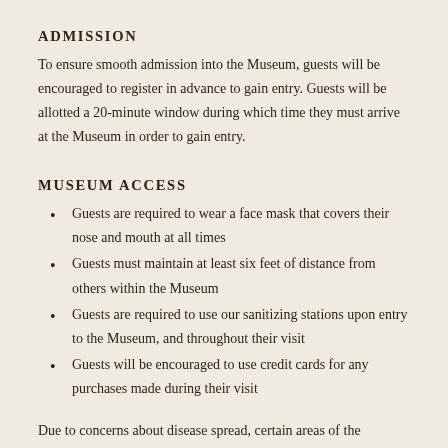ADMISSION
To ensure smooth admission into the Museum, guests will be encouraged to register in advance to gain entry. Guests will be allotted a 20-minute window during which time they must arrive at the Museum in order to gain entry.
MUSEUM ACCESS
Guests are required to wear a face mask that covers their nose and mouth at all times
Guests must maintain at least six feet of distance from others within the Museum
Guests are required to use our sanitizing stations upon entry to the Museum, and throughout their visit
Guests will be encouraged to use credit cards for any purchases made during their visit
Due to concerns about disease spread, certain areas of the Museum